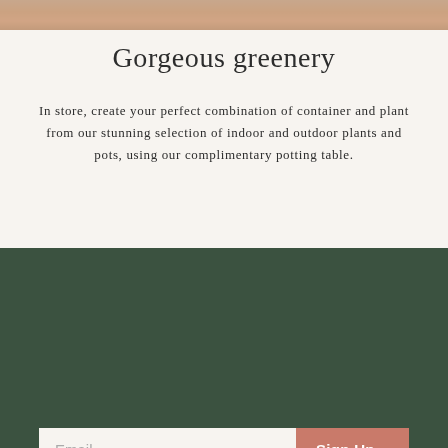[Figure (photo): Top strip of a lifestyle photo showing plants and containers]
Gorgeous greenery
In store, create your perfect combination of container and plant from our stunning selection of indoor and outdoor plants and pots, using our complimentary potting table.
[Figure (infographic): White square with a salmon/terracotta X close button icon on a dark green background]
Join the Family
Subscribe to the Gaudy & Prim list & take $5 off your first online order.
Email  Sign Up >